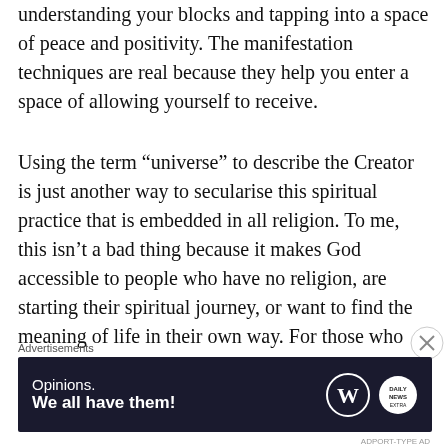understanding your blocks and tapping into a space of peace and positivity. The manifestation techniques are real because they help you enter a space of allowing yourself to receive.
Using the term “universe” to describe the Creator is just another way to secularise this spiritual practice that is embedded in all religion. To me, this isn’t a bad thing because it makes God accessible to people who have no religion, are starting their spiritual journey, or want to find the meaning of life in their own way. For those who have attained spiritual trauma under the hands of corrupt religious authority, this is
Advertisements
[Figure (other): Advertisement banner with dark navy background. Left side shows text 'Opinions. We all have them!' in white. Right side shows WordPress logo (W in circle) and a round white logo.]